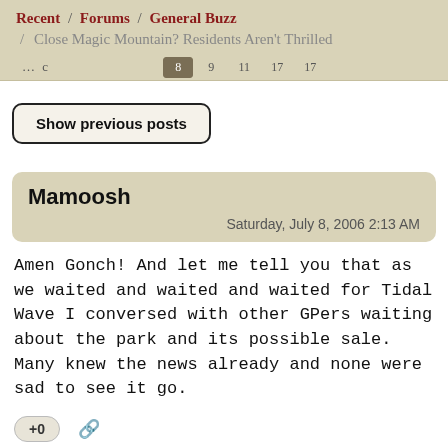Recent / Forums / General Buzz / Close Magic Mountain? Residents Aren't Thrilled
Show previous posts
Mamoosh
Saturday, July 8, 2006 2:13 AM
Amen Gonch! And let me tell you that as we waited and waited and waited for Tidal Wave I conversed with other GPers waiting about the park and its possible sale. Many knew the news already and none were sad to see it go.
+0
DWeaver